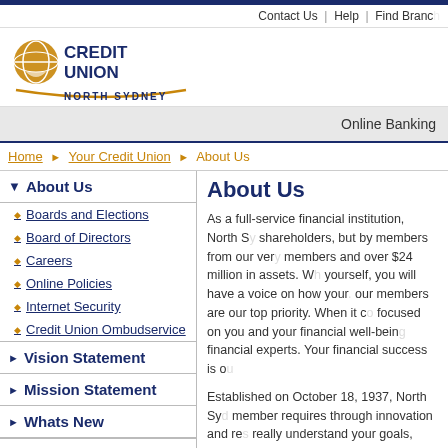Contact Us | Help | Find Branch
[Figure (logo): Credit Union North Sydney logo with globe/hands icon in gold and navy blue text]
Online Banking
Home ▶ Your Credit Union ▶ About Us
▼ About Us
◆ Boards and Elections
◆ Board of Directors
◆ Careers
◆ Online Policies
◆ Internet Security
◆ Credit Union Ombudservice
▶ Vision Statement
▶ Mission Statement
▶ Whats New
Looking for something else?
About Us
As a full-service financial institution, North S... shareholders, but by members from our ver... members and over $24 million in assets. W... yourself, you will have a voice on how your... our members are our top priority. When it c... focused on you and your financial well-bein... financial experts. Your financial success is o...
Established on October 18, 1937, North Sy... member requires through innovation and re... really understand your goals, dreams and p... services to meet your needs, rather than fit... attractive package of products and services... requirements as well as assist you in plann... chequing, MasterCard® products, RRSP...